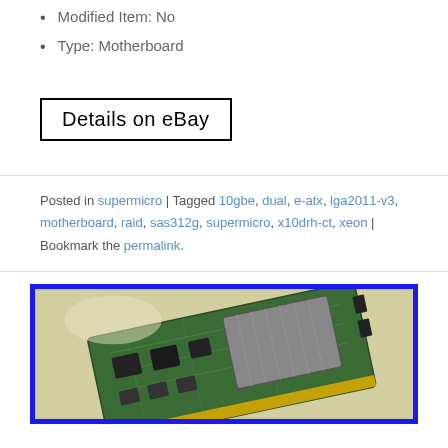Modified Item: No
Type: Motherboard
[Figure (screenshot): Details on eBay button — black bordered rectangle with text 'Details on eBay']
Posted in supermicro | Tagged 10gbe, dual, e-atx, lga2011-v3, motherboard, raid, sas312g, supermicro, x10drh-ct, xeon | Bookmark the permalink.
[Figure (photo): Photo of a PCIe expansion card (likely RAID/SAS controller) with blue border frame, showing green PCB with large chip/heatsink, viewed at an angle on a light background.]